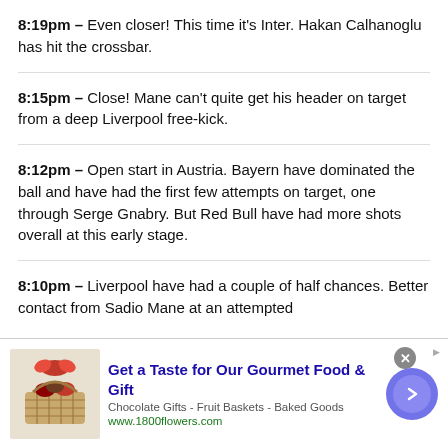8:19pm – Even closer! This time it's Inter. Hakan Calhanoglu has hit the crossbar.
8:15pm – Close! Mane can't quite get his header on target from a deep Liverpool free-kick.
8:12pm – Open start in Austria. Bayern have dominated the ball and have had the first few attempts on target, one through Serge Gnabry. But Red Bull have had more shots overall at this early stage.
8:10pm – Liverpool have had a couple of half chances. Better contact from Sadio Mane at an attempted
[Figure (advertisement): Ad banner for 1800flowers.com: Get a Taste for Our Gourmet Food & Gift. Chocolate Gifts - Fruit Baskets - Baked Goods. www.1800flowers.com]